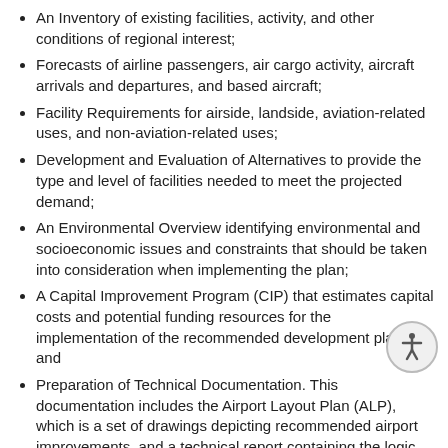An Inventory of existing facilities, activity, and other conditions of regional interest;
Forecasts of airline passengers, air cargo activity, aircraft arrivals and departures, and based aircraft;
Facility Requirements for airside, landside, aviation-related uses, and non-aviation-related uses;
Development and Evaluation of Alternatives to provide the type and level of facilities needed to meet the projected demand;
An Environmental Overview identifying environmental and socioeconomic issues and constraints that should be taken into consideration when implementing the plan;
A Capital Improvement Program (CIP) that estimates capital costs and potential funding resources for the implementation of the recommended development plan; and
Preparation of Technical Documentation. This documentation includes the Airport Layout Plan (ALP), which is a set of drawings depicting recommended airport improvements, and a technical report containing the logic and justification for the plan.
Who Was Involved?